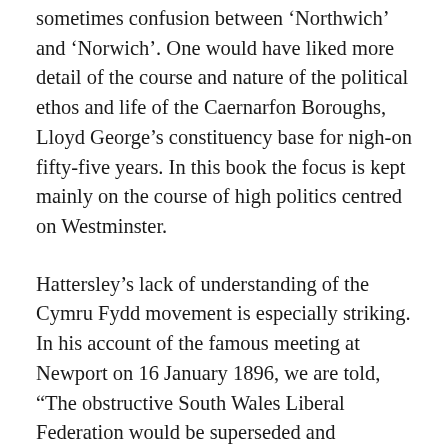sometimes confusion between 'Northwich' and 'Norwich'. One would have liked more detail of the course and nature of the political ethos and life of the Caernarfon Boroughs, Lloyd George's constituency base for nigh-on fifty-five years. In this book the focus is kept mainly on the course of high politics centred on Westminster.
Hattersley's lack of understanding of the Cymru Fydd movement is especially striking. In his account of the famous meeting at Newport on 16 January 1896, we are told, “The obstructive South Wales Liberal Federation would be superseded and engulfed by the Rhondda Liberal Association which would then amalgamate with the North. At first, the plan seemed to be working”. Not all historians would endorse Hattersley's outspokenly harsh view of Lloyd George's attitude towards the Cymru Fydd movement: “When there was serious work to do, he abandoned the trivial role that had helped to establish